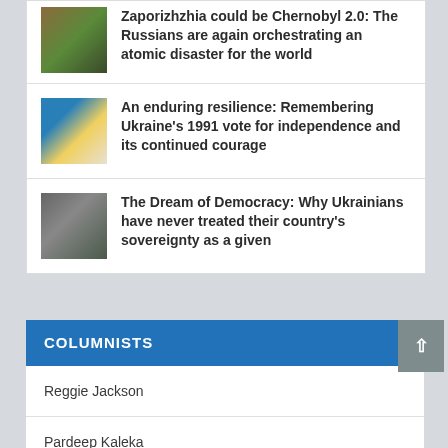Zaporizhzhia could be Chernobyl 2.0: The Russians are again orchestrating an atomic disaster for the world
An enduring resilience: Remembering Ukraine's 1991 vote for independence and its continued courage
The Dream of Democracy: Why Ukrainians have never treated their country's sovereignty as a given
COLUMNISTS
Reggie Jackson
Pardeep Kaleka
Kenneth Cole